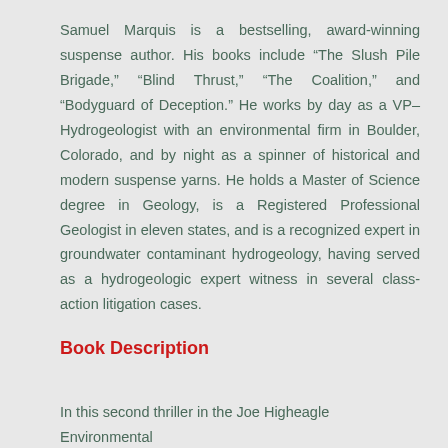Samuel Marquis is a bestselling, award-winning suspense author. His books include “The Slush Pile Brigade,” “Blind Thrust,” “The Coalition,” and “Bodyguard of Deception.” He works by day as a VP–Hydrogeologist with an environmental firm in Boulder, Colorado, and by night as a spinner of historical and modern suspense yarns. He holds a Master of Science degree in Geology, is a Registered Professional Geologist in eleven states, and is a recognized expert in groundwater contaminant hydrogeology, having served as a hydrogeologic expert witness in several class-action litigation cases.
Book Description
In this second thriller in the Joe Higheagle Environmental